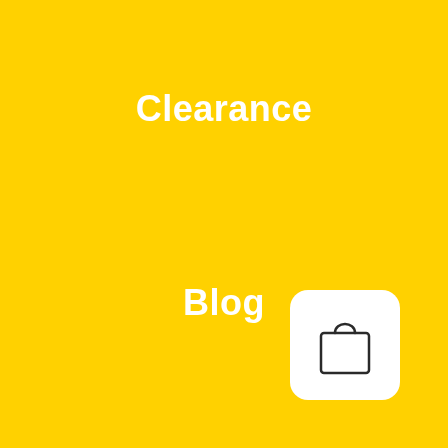Clearance
Blog
[Figure (illustration): White rounded square button containing a shopping bag icon with handles, outlined in dark grey on a yellow background, positioned in the bottom-right corner]